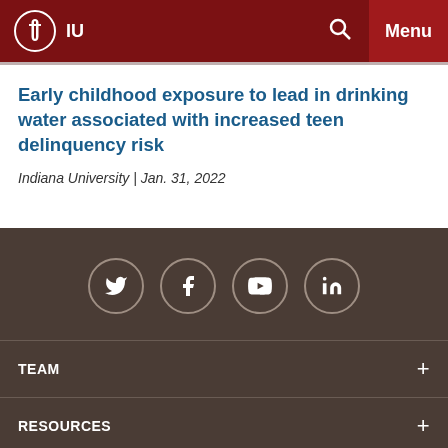IU | Menu
Early childhood exposure to lead in drinking water associated with increased teen delinquency risk
Indiana University | Jan. 31, 2022
[Figure (other): Social media icons for Twitter, Facebook, YouTube, and LinkedIn in circular outlines on dark brown background]
TEAM +
RESOURCES +
SUBSCRIBE +